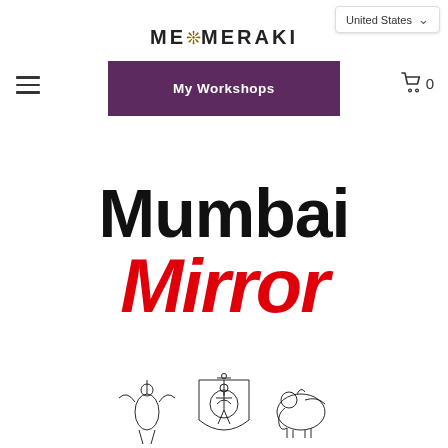United States
ME❊MERAKI
[Figure (screenshot): Hamburger menu icon (three horizontal lines) on the left side of the navigation bar]
My Workshops
[Figure (screenshot): Shopping cart icon with count 0 on the right side of the navigation bar]
[Figure (logo): Mumbai Mirror newspaper logo. 'Mumbai' in large bold black text, 'Mirror' in large bold red italic text below.]
[Figure (illustration): Mumbai Mirror newspaper crest/emblem illustration at the bottom, showing a coat of arms with figures including an angel/winged figure, a person, a shield, and an elephant, rendered in black and white line art.]